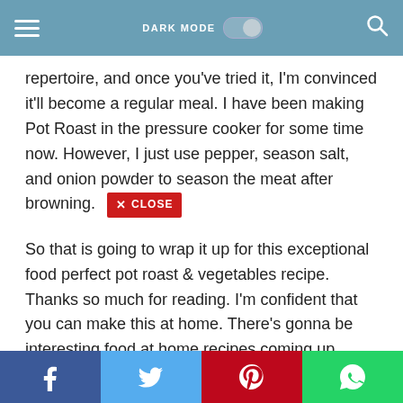DARK MODE [toggle] [search]
repertoire, and once you've tried it, I'm convinced it'll become a regular meal. I have been making Pot Roast in the pressure cooker for some time now. However, I just use pepper, season salt, and onion powder to season the meat after browning. [X CLOSE]
So that is going to wrap it up for this exceptional food perfect pot roast & vegetables recipe. Thanks so much for reading. I'm confident that you can make this at home. There's gonna be interesting food at home recipes coming up. Remember to bookmark this page in your browser, and share it to your family, friends and colleague. Thank you for reading. Go on get cooking!
Share
[Figure (infographic): Social sharing buttons: Facebook, Twitter, Pinterest, WhatsApp]